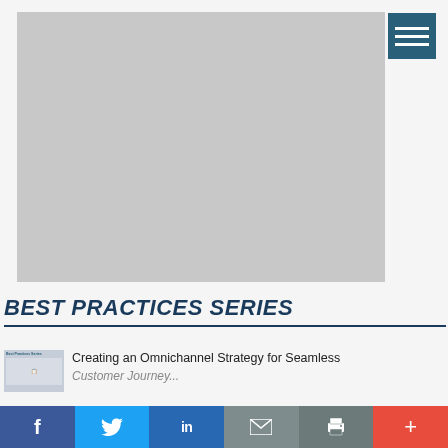[Figure (photo): Large grey placeholder image for best practices series content]
[Figure (illustration): Hamburger menu icon in teal/dark blue square]
BEST PRACTICES SERIES
[Figure (photo): Small thumbnail image of Best Practices Series document cover]
Creating an Omnichannel Strategy for Seamless Customer Journey
[Figure (illustration): Social media sharing bar with Facebook, Twitter, LinkedIn, Email, Print, and Plus buttons]